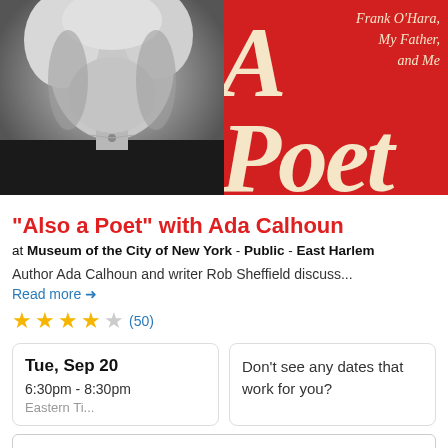[Figure (photo): Left half: black and white portrait of a woman with curly blonde hair and a necklace, wearing a dark top. Right half: red book cover with large italic cream letters 'A Poet' and subtitle text 'Frank O'Hara, My Father, and Me' in cream italic font at top right.]
"Also a Poet" with Ada Calhoun
at Museum of the City of New York - Public - East Harlem
Author Ada Calhoun and writer Rob Sheffield discuss...
Read more →
★★★★☆ (50)
Tue, Sep 20
6:30pm - 8:30pm
Don't see any dates that work for you?
SAVE TO WISHLIST